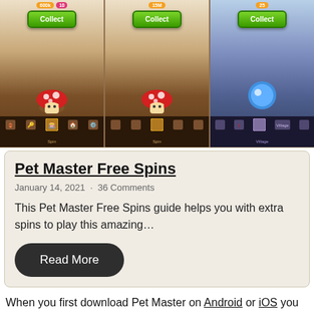[Figure (screenshot): Screenshot of Pet Master game showing three reward panels each with a Collect button, game characters, and bottom navigation icons including Spin and Village.]
Pet Master Free Spins
January 14, 2021  ·  36 Comments
This Pet Master Free Spins guide helps you with extra spins to play this amazing…
Read More
When you first download Pet Master on Android or iOS you have to choose if you want to connect to Facebook or play as a guest. If you connect to Facebook you get some nice bonuses and you van play with your friends. After that you start by learning how to